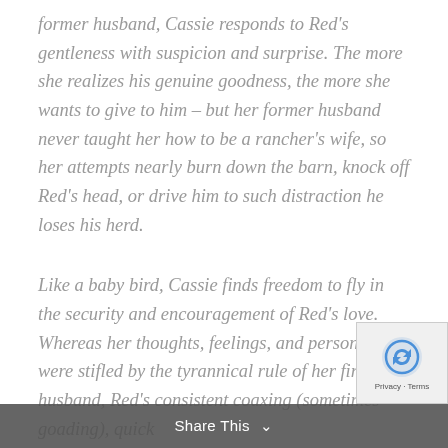former husband, Cassie responds to Red's gentleness with suspicion and surprise. The more she realizes his genuine goodness, the more she wants to give to him – but her former husband never taught her how to be a rancher's wife, so her attempts nearly burn down the barn, knock off Red's head, or drive him to such distraction he loses his herd.
Like a baby bird, Cassie finds freedom to fly in the security and encouragement of Red's love. Whereas her thoughts, feelings, and personality were stifled by the tyrannical rule of her first husband, Red's consistent coaxing (sometimes goading), quick
Share This ∨